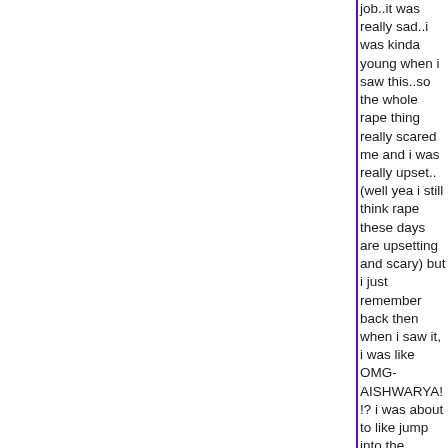job..it was really sad..i was kinda young when i saw this..so the whole rape thing really scared me and i was really upset..(well yea i still think rape these days are upsetting and scary) but i just remember back then when i saw it, i was like OMG-AISHWARYA!!? i was about to like jump into the screen and kick that guys ((u kno what)) her acting was sooo good, that i was soo attatched to the film at such a young age..